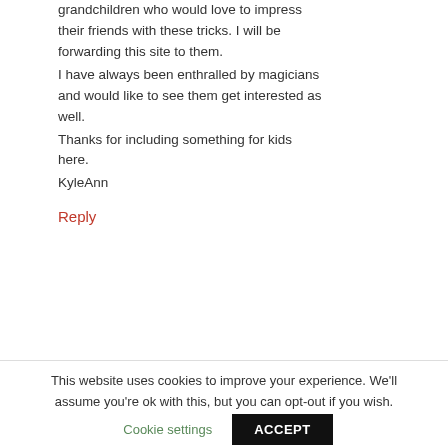grandchildren who would love to impress their friends with these tricks. I will be forwarding this site to them.
I have always been enthralled by magicians and would like to see them get interested as well.
Thanks for including something for kids here.
KyleAnn
Reply
This website uses cookies to improve your experience. We'll assume you're ok with this, but you can opt-out if you wish.
Cookie settings
ACCEPT